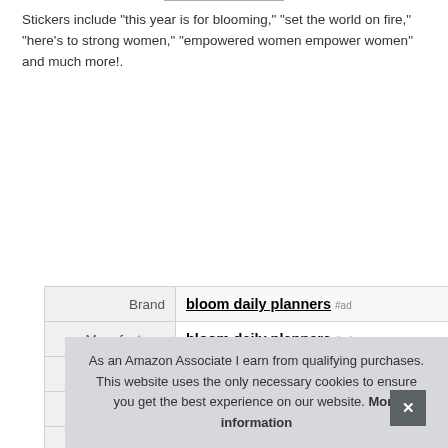Stickers include "this year is for blooming," "set the world on fire," "here's to strong women," "empowered women empower women" and much more!.
| Brand | bloom daily planners #ad |
| Manufacturer | bloom daily planners #ad |
| Height | 0.06 Inches |
| Length | 8.25 Inches |
| Width | 4.75 Inches |
| P |  |
As an Amazon Associate I earn from qualifying purchases. This website uses the only necessary cookies to ensure you get the best experience on our website. More information